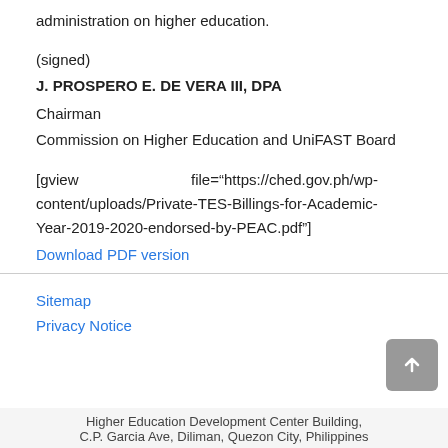administration on higher education.
(signed)
J. PROSPERO E. DE VERA III, DPA
Chairman
Commission on Higher Education and UniFAST Board
[gview file="https://ched.gov.ph/wp-content/uploads/Private-TES-Billings-for-Academic-Year-2019-2020-endorsed-by-PEAC.pdf"]
Download PDF version
Sitemap
Privacy Notice
Higher Education Development Center Building,
C.P. Garcia Ave, Diliman, Quezon City, Philippines